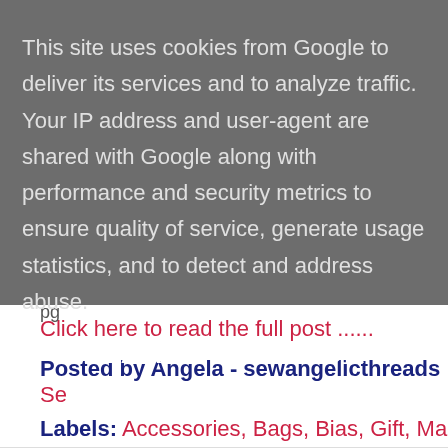This site uses cookies from Google to deliver its services and to analyze traffic. Your IP address and user-agent are shared with Google along with performance and security metrics to ensure quality of service, generate usage statistics, and to detect and address abuse.
LEARN MORE   OK
Click here to read the full post ......
Posted by Angela - sewangelicthreads Se...
Labels: Accessories, Bags, Bias, Gift, Ma...